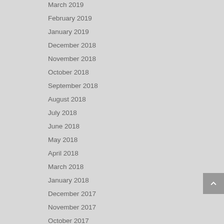March 2019
February 2019
January 2019
December 2018
November 2018
October 2018
September 2018
August 2018
July 2018
June 2018
May 2018
April 2018
March 2018
January 2018
December 2017
November 2017
October 2017